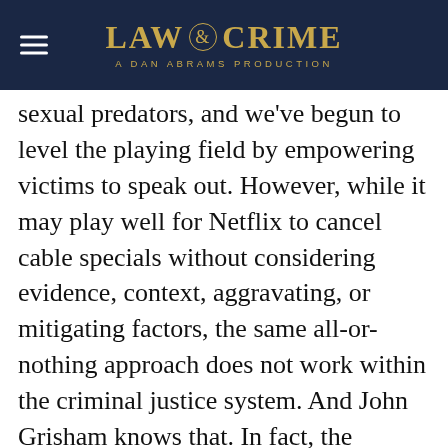LAW & CRIME — A DAN ABRAMS PRODUCTION
sexual predators, and we've begun to level the playing field by empowering victims to speak out. However, while it may play well for Netflix to cancel cable specials without considering evidence, context, aggravating, or mitigating factors, the same all-or-nothing approach does not work within the criminal justice system. And John Grisham knows that. In fact, the complex, non-binary nature of the justice system is the basis for many of the author's blockbuster hits.
Grisham is experienced criminal lawyer who has seen the legal system railroad the powerless for